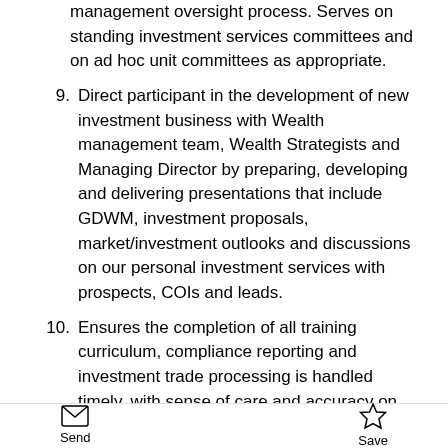management oversight process. Serves on standing investment services committees and on ad hoc unit committees as appropriate.
9. Direct participant in the development of new investment business with Wealth management team, Wealth Strategists and Managing Director by preparing, developing and delivering presentations that include GDWM, investment proposals, market/investment outlooks and discussions on our personal investment services with prospects, COIs and leads.
10. Ensures the completion of all training curriculum, compliance reporting and investment trade processing is handled timely, with sense of care and accuracy on your assigned accounts.
Qualifications/Skills:
Candidates should have 7 or more years of
Send   Save